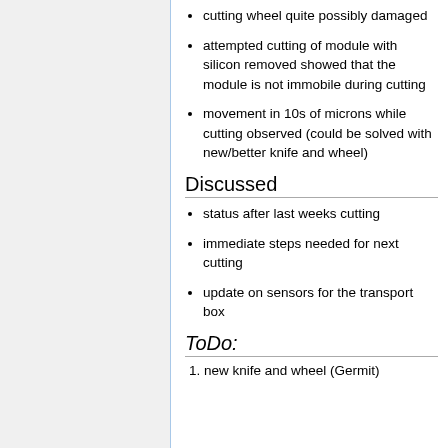cutting wheel quite possibly damaged
attempted cutting of module with silicon removed showed that the module is not immobile during cutting
movement in 10s of microns while cutting observed (could be solved with new/better knife and wheel)
Discussed
status after last weeks cutting
immediate steps needed for next cutting
update on sensors for the transport box
ToDo:
1. new knife and wheel (Germit)